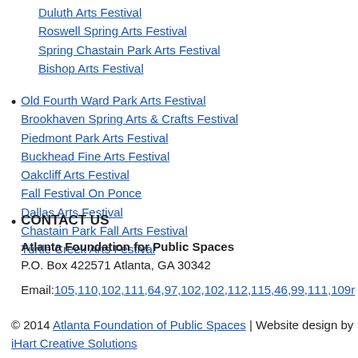Duluth Arts Festival
Roswell Spring Arts Festival
Spring Chastain Park Arts Festival
Bishop Arts Festival
Old Fourth Ward Park Arts Festival
Brookhaven Spring Arts & Crafts Festival
Piedmont Park Arts Festival
Buckhead Fine Arts Festival
Oakcliff Arts Festival
Fall Festival On Ponce
Dallas Arts Festival
Chastain Park Fall Arts Festival
Turtle Creek Arts Festival
CONTACT US
Atlanta Foundation for Public Spaces
P.O. Box 422571 Atlanta, GA 30342
Email: 105,110,102,111,64,97,102,102,112,115,46,99,111,109r
© 2014 Atlanta Foundation of Public Spaces | Website design by iHart Creative Solutions